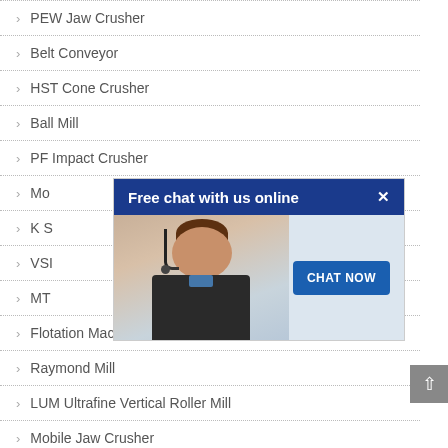PEW Jaw Crusher
Belt Conveyor
HST Cone Crusher
Ball Mill
PF Impact Crusher
Mo...
K S...
VSI...
MT...
Flotation Machine
Raymond Mill
LUM Ultrafine Vertical Roller Mill
Mobile Jaw Crusher
[Figure (screenshot): Chat widget popup with header 'Free chat with us online', an image of a customer service representative with headset, and a 'CHAT NOW' button]